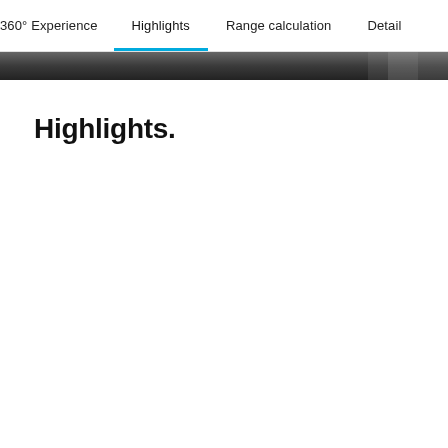360° Experience   Highlights   Range calculation   Detail
Highlights.